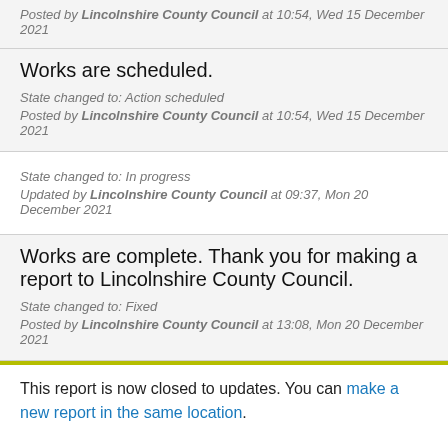Posted by Lincolnshire County Council at 10:54, Wed 15 December 2021
Works are scheduled.
State changed to: Action scheduled
Posted by Lincolnshire County Council at 10:54, Wed 15 December 2021
State changed to: In progress
Updated by Lincolnshire County Council at 09:37, Mon 20 December 2021
Works are complete. Thank you for making a report to Lincolnshire County Council.
State changed to: Fixed
Posted by Lincolnshire County Council at 13:08, Mon 20 December 2021
This report is now closed to updates. You can make a new report in the same location.